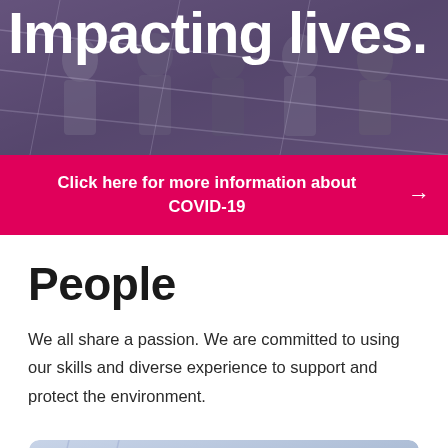[Figure (photo): Group of people on a staircase or outdoor walkway with a purple/mauve overlay tint. Bold white text reads 'Impacting lives.' overlaid on the image.]
Click here for more information about COVID-19
People
We all share a passion. We are committed to using our skills and diverse experience to support and protect the environment.
[Figure (photo): Building exterior with 'kcnds' logo sign, tinted in blue/purple hues.]